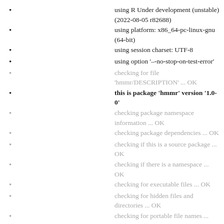using R Under development (unstable) (2022-08-05 r82688)
using platform: x86_64-pc-linux-gnu (64-bit)
using session charset: UTF-8
using option '–-no-stop-on-test-error'
checking for file 'hmmr/DESCRIPTION' ... OK
this is package 'hmmr' version '1.0-0'
checking package namespace information ... OK
checking package dependencies ... OK
checking if this is a source package ... OK
checking if there is a namespace ... OK
checking for executable files ... OK
checking for hidden files and directories ... OK
checking for portable file names ... OK
checking for sufficient/correct file permissions ... OK
checking whether package 'hmmr' can be installed ... OK
checking package directory ... OK
checking DESCRIPTION meta-information ... OK
checking top-level files ... OK
checking for left-over files ... OK
checking index information ... OK
checking package subdirectories ... OK
checking R files for non-ASCII characters ... OK
checking R files for syntax errors ... OK
checking whether the package can be loaded ... OK